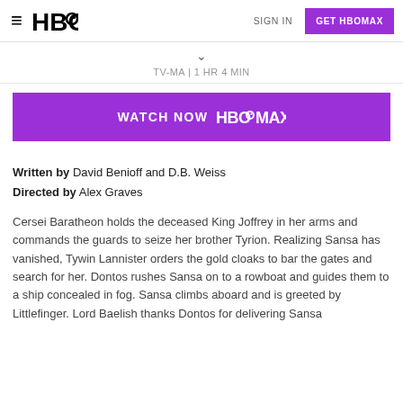≡  HBO  SIGN IN  GET HBOMAX
TV-MA | 1 HR 4 MIN
[Figure (screenshot): Purple 'WATCH NOW HBO max' button]
Written by David Benioff and D.B. Weiss
Directed by Alex Graves
Cersei Baratheon holds the deceased King Joffrey in her arms and commands the guards to seize her brother Tyrion. Realizing Sansa has vanished, Tywin Lannister orders the gold cloaks to bar the gates and search for her. Dontos rushes Sansa on to a rowboat and guides them to a ship concealed in fog. Sansa climbs aboard and is greeted by Littlefinger. Lord Baelish thanks Dontos for delivering Sansa